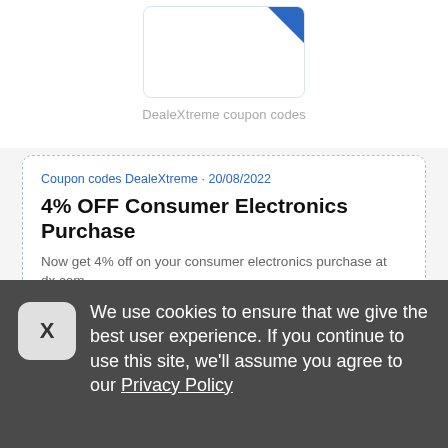[Figure (logo): DealeXtreme logo box with blue corner triangle]
DealeXtreme coupon codes
Coupon codes DealeXtreme • 20/08/2022
4% OFF Consumer Electronics Purchase
Now get 4% off on your consumer electronics purchase at dx.com.
[Figure (other): SHOW CODE button with code S77]
Share    0 times used
We use cookies to ensure that we give the best user experience. If you continue to use this site, we'll assume you agree to our Privacy Policy